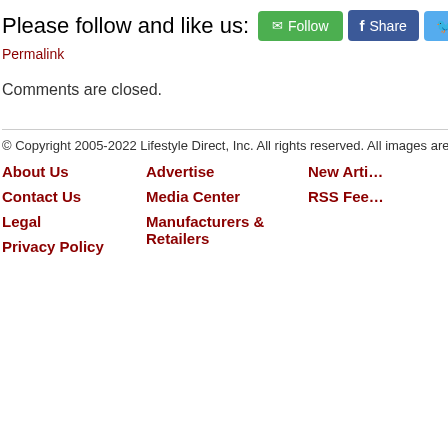Please follow and like us:
Permalink
Comments are closed.
© Copyright 2005-2022 Lifestyle Direct, Inc. All rights reserved. All images are copyright
About Us
Advertise
New Arti…
Contact Us
Media Center
RSS Fee…
Legal
Manufacturers & Retailers
Privacy Policy